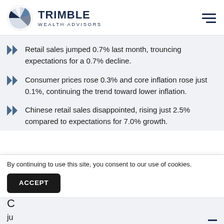TRIMBLE WEALTH ADVISORS
Retail sales jumped 0.7% last month, trouncing expectations for a 0.7% decline.
Consumer prices rose 0.3% and core inflation rose just 0.1%, continuing the trend toward lower inflation.
Chinese retail sales disappointed, rising just 2.5% compared to expectations for 7.0% growth.
By continuing to use this site, you consent to our use of cookies.